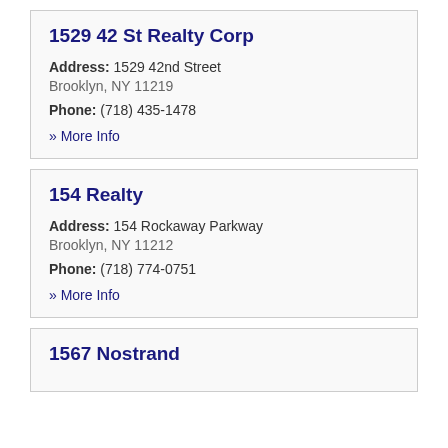1529 42 St Realty Corp
Address: 1529 42nd Street
Brooklyn, NY 11219
Phone: (718) 435-1478
» More Info
154 Realty
Address: 154 Rockaway Parkway
Brooklyn, NY 11212
Phone: (718) 774-0751
» More Info
1567 Nostrand